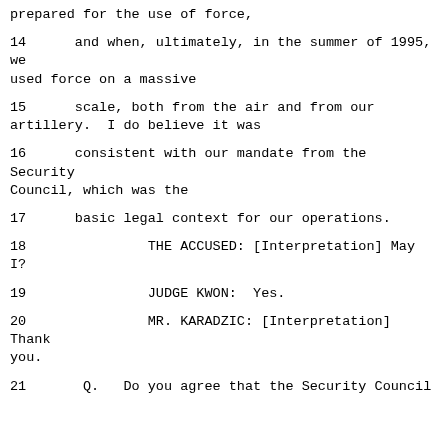prepared for the use of force,
14      and when, ultimately, in the summer of 1995, we used force on a massive
15      scale, both from the air and from our artillery.  I do believe it was
16      consistent with our mandate from the Security Council, which was the
17      basic legal context for our operations.
18               THE ACCUSED: [Interpretation] May I?
19               JUDGE KWON:  Yes.
20               MR. KARADZIC: [Interpretation] Thank you.
21      Q.   Do you agree that the Security Council